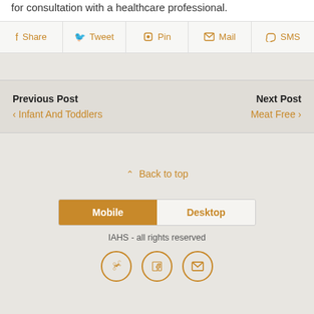for consultation with a healthcare professional.
Share  Tweet  Pin  Mail  SMS
Previous Post
< Infant And Toddlers
Next Post
Meat Free >
^ Back to top
Mobile  Desktop
IAHS - all rights reserved